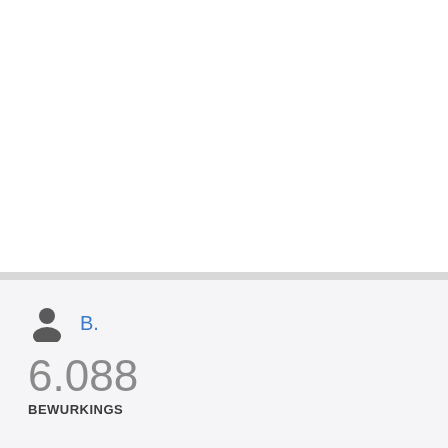[Figure (other): User profile icon (silhouette of a person) in dark gray]
B.
6.088
BEWURKINGS